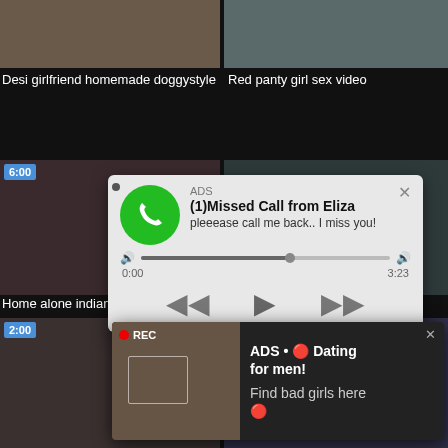[Figure (screenshot): Top two video thumbnails side by side on dark background]
Desi girlfriend homemade doggystyle
Red panty girl sex video
[Figure (screenshot): Second row of two video thumbnails with time badge 6:00]
[Figure (screenshot): Audio ad popup: phone icon, ADS label, (1)Missed Call from Eliza, pleeease call me back.. I miss you!, audio player controls, time 0:00 / 3:23]
Home alone indian housewife
School teacher aunty fucking in
[Figure (screenshot): Webcam-style ad with REC indicator and image of woman taking selfie, 2:00 badge]
[Figure (screenshot): Ad popup: ADS • 🔴 Dating for men! Find bad girls here 🔴]